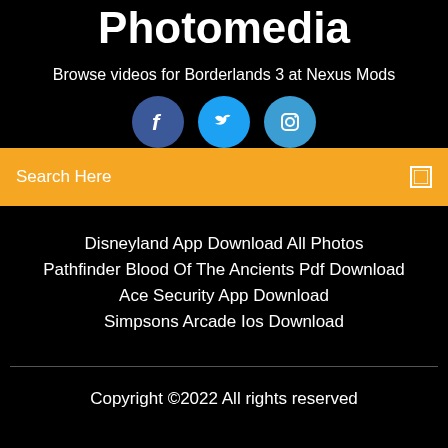Photomedia
Browse videos for Borderlands 3 at Nexus Mods
[Figure (illustration): Three social media icon circles: Facebook (dark blue with 'f'), Twitter (medium blue with bird icon), Instagram (light blue with camera icon)]
Search Here
Disneyland App Download All Photos
Pathfinder Blood Of The Ancients Pdf Download
Ace Security App Download
Simpsons Arcade Ios Download
Copyright ©2022 All rights reserved